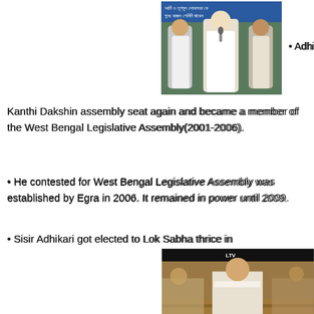[Figure (photo): Group photo of political figures on stage with Bengali text banner in background]
• Adhikari won the Kanthi Dakshin assembly seat again and became a member of the West Bengal Legislative Assembly(2001-2006).
• He contested for West Bengal Legislative Assembly was established by Egra in 2006. It remained in power until 2009.
• Sisir Adhikari got elected to Lok Sabha thrice in 2009, 2014, and 2019.
[Figure (screenshot): Screenshot of Sisir Kumar Adhikari speaking in Lok Sabha parliament session, caption reads 'Sisir Kumar Adhikari, MP, Kanthi (West Bengal)' and 'OM BIRLA, Hon'ble Speaker', 'Sing of Ships Bill, 2019']
Adhikari became Minister of State for Rural Development was established in 2009, and it remained in power until 2012 under Prime Minister Manmohan Sing's government.
[Figure (photo): Partial photo showing inauguration event with 'West Bengal' text visible, cropped at bottom of page]